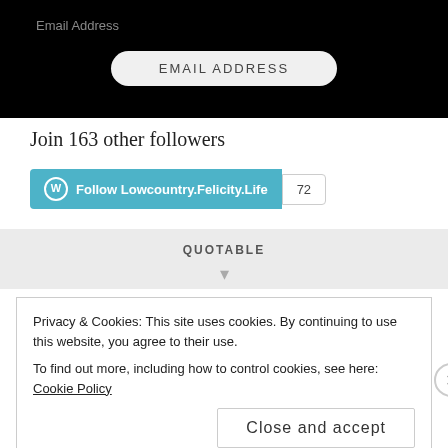[Figure (screenshot): Black background section with 'Email Address' label and 'EMAIL ADDRESS' rounded button]
Join 163 other followers
[Figure (other): WordPress Follow button for Lowcountry.Felicity.Life with follower count badge showing 72]
QUOTABLE
Privacy & Cookies: This site uses cookies. By continuing to use this website, you agree to their use.
To find out more, including how to control cookies, see here: Cookie Policy
Close and accept